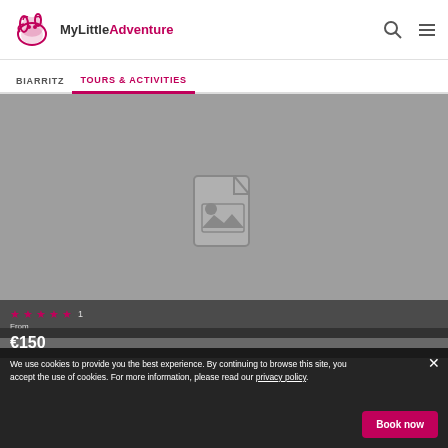[Figure (logo): MyLittleAdventure logo with pink running rabbit icon and text 'MyLittle Adventure' in black and pink]
BIARRITZ   TOURS & ACTIVITIES
[Figure (photo): Grey placeholder image with a broken image icon in the center]
★★★★★ 1
From
€150
We use cookies to provide you the best experience. By continuing to browse this site, you accept the use of cookies. For more information, please read our privacy policy.
Book now